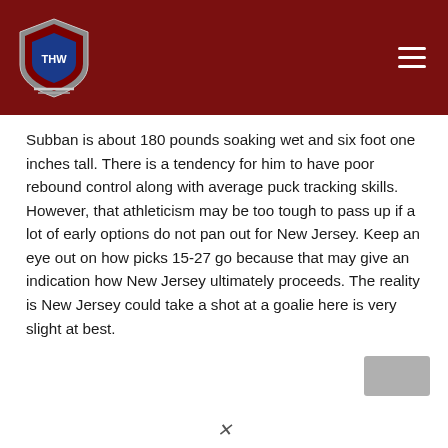THW Hockey Writers
Subban is about 180 pounds soaking wet and six foot one inches tall. There is a tendency for him to have poor rebound control along with average puck tracking skills. However, that athleticism may be too tough to pass up if a lot of early options do not pan out for New Jersey. Keep an eye out on how picks 15-27 go because that may give an indication how New Jersey ultimately proceeds. The reality is New Jersey could take a shot at a goalie here is very slight at best.